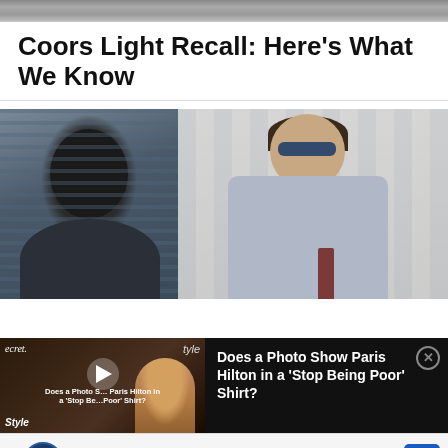[Figure (photo): Cropped top strip from a previous page photo]
Coors Light Recall: Here’s What We Know
[Figure (photo): Split image: left side shows person from behind in dark clothing with blinds in background; right side shows man in grey suit with sunglasses and burgundy tie standing outdoors]
[Figure (screenshot): Video popup overlay with thumbnail showing Paris Hilton in golden dress with play button, beside text reading 'Does a Photo Show Paris Hilton in a Stop Being Poor Shirt?']
Save Up to $100 on Brakes & Rotors at Virginia Tire & Auto